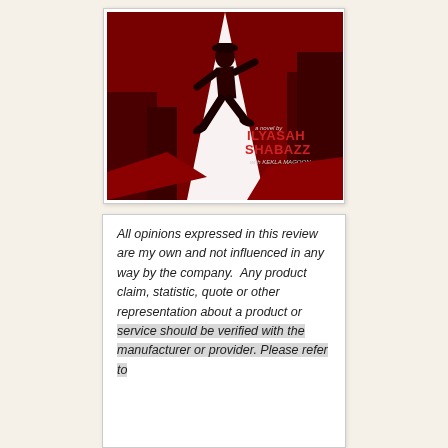[Figure (illustration): Book cover of a novel by Ilyasah Shabazz with Kekla Magoon. Red and dark toned cover showing a silhouette of a running man in a hat against a white beam of light, with red urban background.]
All opinions expressed in this review are my own and not influenced in any way by the company. Any product claim, statistic, quote or other representation about a product or service should be verified with the manufacturer or provider. Please refer to